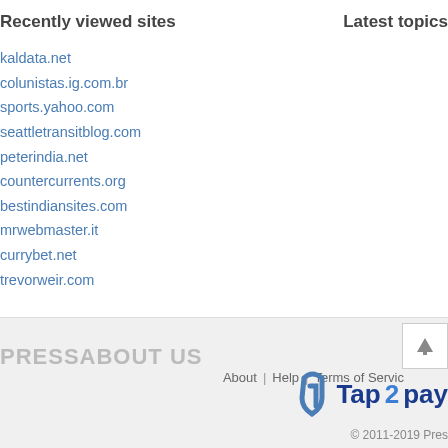Recently viewed sites
Latest topics
kaldata.net
colunistas.ig.com.br
sports.yahoo.com
seattletransitblog.com
peterindia.net
countercurrents.org
bestindiansites.com
mrwebmaster.it
currybet.net
trevorweir.com
PRESSABOUT US   About | Help | Terms of Service   Tap2pay   © 2011-2019 Pres